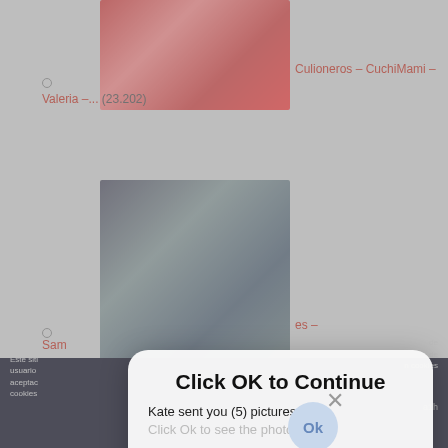[Figure (screenshot): Screenshot of a website with adult content listings (blurred/covered by dialog), showing thumbnail images and red text links in Spanish, with a browser popup dialog overlay saying 'Click OK to Continue' and a fake mobile notification 'Kate sent you (5) pictures / Click OK to see the photo' with an OK button, and a large blue 'Ok' circle button below.]
Culioneros – CuchiMami –
Valeria –... (23.202)
Culioneros – Nalgas Grandes –
Angi
Click OK to Continue
Kate sent you (5) pictures
Click Ok to see the photo
OK
es –
Sam
Este siti
usuario
aceptac
cookies
de
ca de
n cookies
a1h